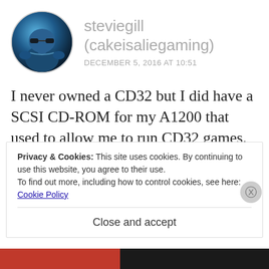[Figure (illustration): Circular avatar of a blue robotic/armored character wearing sunglasses]
steviegill
(cakeisaliegaming)
DECEMBER 5, 2016 AT 10:51
I never owned a CD32 but I did have a SCSI CD-ROM for my A1200 that used to allow me to run CD32 games. To be honest, the best thing about the CD32 was always the compilations. That and CD32 version of The Chaos Engine with
Privacy & Cookies: This site uses cookies. By continuing to use this website, you agree to their use.
To find out more, including how to control cookies, see here: Cookie Policy
Close and accept